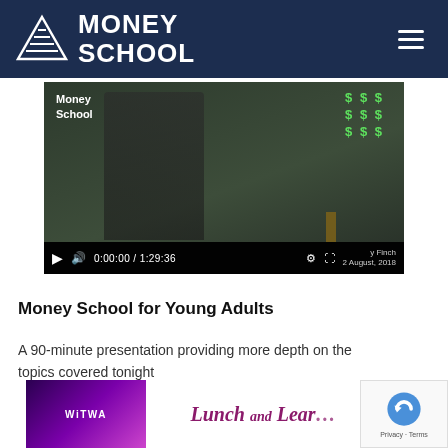[Figure (logo): Money School logo with triangle/pyramid icon and bold white text on dark navy background, with hamburger menu icon on right]
[Figure (screenshot): Video player showing a woman presenter in front of a chalkboard with a money tree drawing. Video controls show 0:00:00 / 1:29:36 timestamp. Text overlay reads 'Money School'. Date stamp: 2 August, 2018.]
Money School for Young Adults
A 90-minute presentation providing more depth on the topics covered tonight
[Figure (screenshot): Bottom partial thumbnails showing: left - WiTWA (Women in Technology Western Australia) event image with purple background; right - 'Lunch and Learn' text in cursive pink/maroon style. reCAPTCHA badge visible at bottom right.]